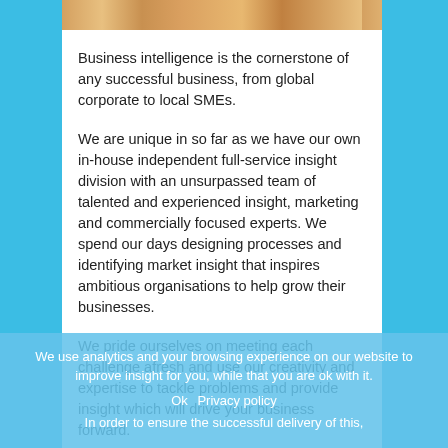[Figure (photo): Photo strip at top of white card showing people in a business/meeting context, cropped to a narrow horizontal band]
Business intelligence is the cornerstone of any successful business, from global corporate to local SMEs.
We are unique in so far as we have our own in-house independent full-service insight division with an unsurpassed team of talented and experienced insight, marketing and commercially focused experts. We spend our days designing processes and identifying market insight that inspires ambitious organisations to help grow their businesses.
We pride ourselves on meeting each challenge afresh and use our creativity and expertise to tackle problems and provide insight which will drive your business forward.
We use analytics and your browsing experience on our website to improve insight for you, while that you are ok with it.
Ok   Privacy policy
In order to ensure the successful delivery of this,